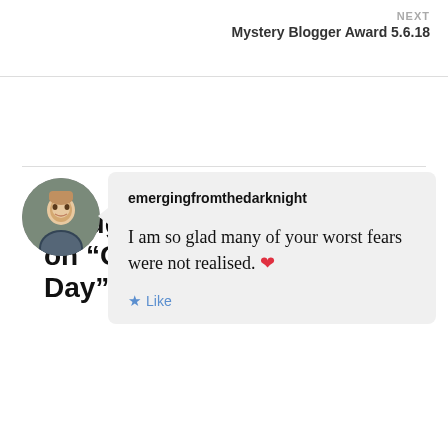NEXT
Mystery Blogger Award 5.6.18
16 thoughts on “Off Day”
emergingfromthedarknight
I am so glad many of your worst fears were not realised. ❤️
Like